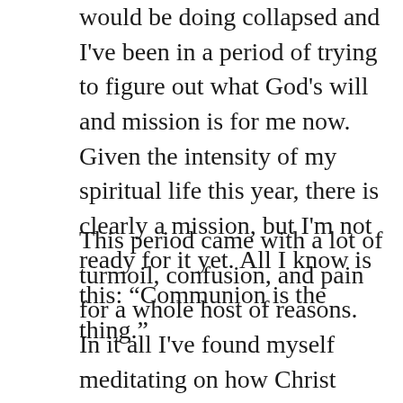would be doing collapsed and I've been in a period of trying to figure out what God's will and mission is for me now. Given the intensity of my spiritual life this year, there is clearly a mission, but I'm not ready for it yet. All I know is this: “Communion is the thing.”
This period came with a lot of turmoil, confusion, and pain for a whole host of reasons. In it all I've found myself meditating on how Christ forgives and how He moves past the horror we inflicted upon Him on the Cross and